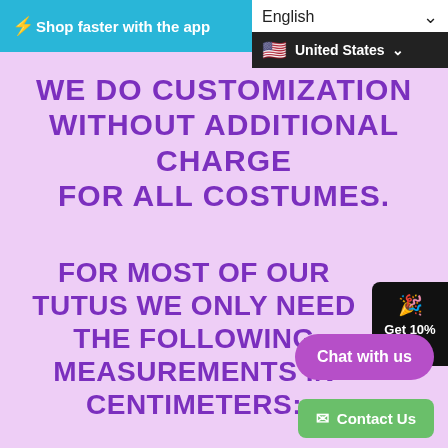⚡ Shop faster with the app
WE DO CUSTOMIZATION WITHOUT ADDITIONAL CHARGE FOR ALL COSTUMES.
FOR MOST OF OUR TUTUS WE ONLY NEED THE FOLLOWING MEASUREMENTS IN CENTIMETERS:
English (United States)
Get 10% Off
Chat with us
Contact Us